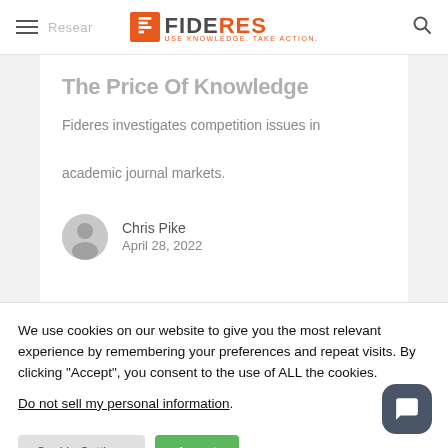Research | FIDERES USE KNOWLEDGE. TAKE ACTION.
The Price Of Knowledge
Fideres investigates competition issues in academic journal markets.
Chris Pike
April 28, 2022
We use cookies on our website to give you the most relevant experience by remembering your preferences and repeat visits. By clicking “Accept”, you consent to the use of ALL the cookies.
Do not sell my personal information.
Cookie Settings   Accept